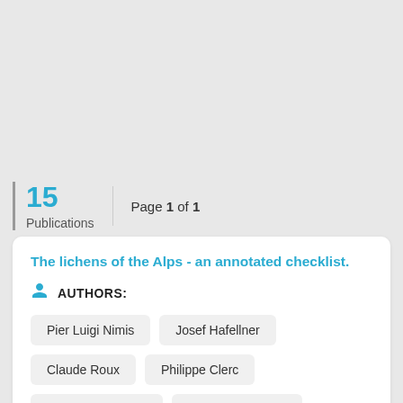15 Publications   Page 1 of 1
The lichens of the Alps - an annotated checklist.
AUTHORS:
Pier Luigi Nimis
Josef Hafellner
Claude Roux
Philippe Clerc
Helmut Mayrhofer
Stefano Martellos
Peter O Bilovitz